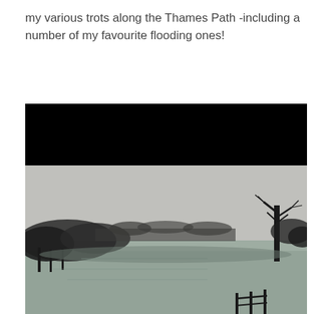my various trots along the Thames Path -including a number of my favourite flooding ones!
[Figure (photo): A black and white photograph showing a flooded scene along the Thames Path. The upper portion of the image is black (overexposed or cropped dark area). The lower portion shows a wide expanse of floodwater surrounded by bare winter trees on the left and right, with a grey overcast sky. A wooden fence or gate is visible in the lower right corner.]